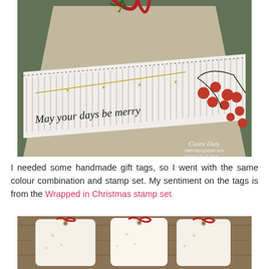[Figure (photo): Close-up photo of a handmade Christmas gift with grey/kraft wrapping, decorated with a white stamped band featuring the sentiment 'May your days be merry', gold star elements, fringe detailing, and a red berry branch embellishment. A red ribbon bow is at the top. Watermark reads 'Claire Daly' with website details.]
I needed some handmade gift tags, so I went with the same colour combination and stamp set. My sentiment on the tags is from the Wrapped in Christmas stamp set.
[Figure (photo): Photo of handmade Christmas gift tags in white/cream with gold star impressions, tied with red ribbon bows and gold glitter sprigs, lying on a wooden surface.]